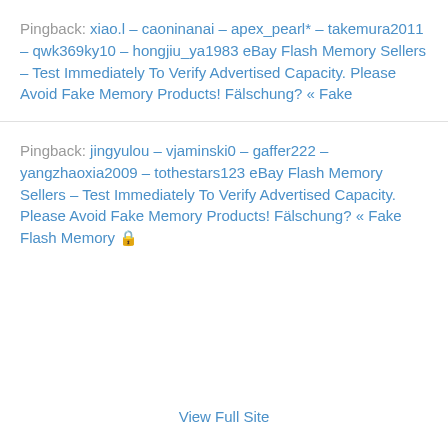Pingback: xiao.l – caoninanai – apex_pearl* – takemura2011 – qwk369ky10 – hongjiu_ya1983 eBay Flash Memory Sellers – Test Immediately To Verify Advertised Capacity. Please Avoid Fake Memory Products! Fälschung? « Fake
Pingback: jingyulou – vjaminski0 – gaffer222 – yangzhaoxia2009 – tothestars123 eBay Flash Memory Sellers – Test Immediately To Verify Advertised Capacity. Please Avoid Fake Memory Products! Fälschung? « Fake Flash Memory 🔒
View Full Site